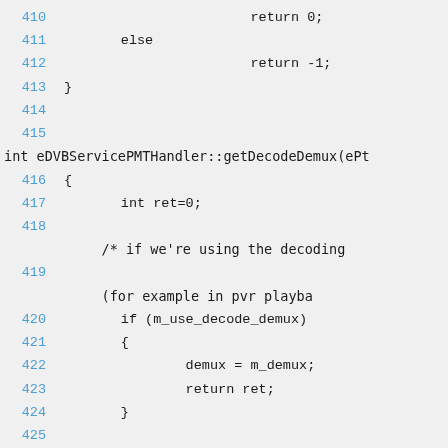Code listing lines 410-426 showing C++ source code for eDVBServicePMTHandler::getDecodeDemux function
410                             return 0;
411         else
412                             return -1;
413 }
414
415
int eDVBServicePMTHandler::getDecodeDemux(ePt
416 {
417         int ret=0;
418
/* if we're using the decoding
419
(for example in pvr playba
420         if (m_use_decode_demux)
421         {
422                 demux = m_demux;
423                 return ret;
424         }
425
426